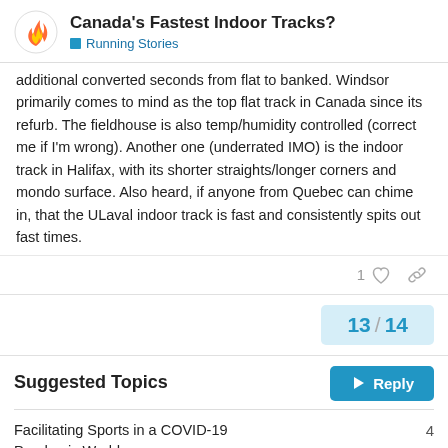Canada's Fastest Indoor Tracks? — Running Stories
additional converted seconds from flat to banked. Windsor primarily comes to mind as the top flat track in Canada since its refurb. The fieldhouse is also temp/humidity controlled (correct me if I'm wrong). Another one (underrated IMO) is the indoor track in Halifax, with its shorter straights/longer corners and mondo surface. Also heard, if anyone from Quebec can chime in, that the ULaval indoor track is fast and consistently spits out fast times.
1 ♡ 🔗
13 / 14
↩ Reply
Suggested Topics
Facilitating Sports in a COVID-19 Pandemic World  4